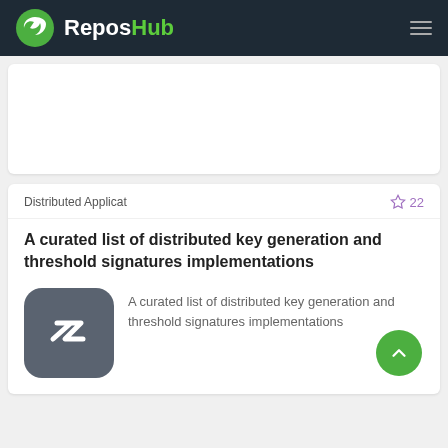ReposHub
[Figure (screenshot): Blank white card (partially visible, cropped from above)]
Distributed Applicat
22
A curated list of distributed key generation and threshold signatures implementations
[Figure (logo): App logo: rounded square with dark grey background and white 'z' letter mark]
A curated list of distributed key generation and threshold signatures implementations